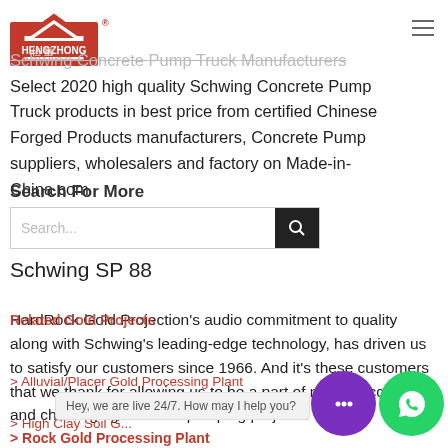[Figure (logo): HengZhong company logo - red house/triangle icon with Chinese characters and company name]
Schwing Concrete Pump Truck Manufacturers Select 2020 high quality Schwing Concrete Pump Truck products in best price from certified Chinese Forged Products manufacturers, Concrete Pump suppliers, wholesalers and factory on Made-in-China.com
Search For More
Search...
Schwing SP 88
Related Gold Projects
HardRock Gold Projection's audio commitment to quality along with Schwing's leading-edge technology, has driven us to satisfy our customers since 1966. And it's these customers that we thank for allowing us to be a part of many successful and challenging concrete pumping projects.
> Alluvial/Placer Gold Processing Plant
> High Clay Soil G...
Hey, we are live 24/7. How may I help you?
> Rock Gold Processing Plant